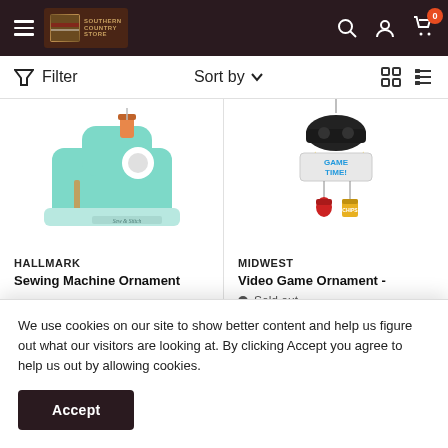Southern Country Store — navigation header with hamburger menu, logo, search, account, and cart icons
Filter  Sort by  (grid/list view toggle)
[Figure (photo): Mint/teal sewing machine Christmas ornament with orange thread spool on top, white base, and 'Sew & Stitch' text]
[Figure (photo): Video game themed Christmas ornament with game controller, colorful text, stars, mittens and snacks hanging from it]
HALLMARK
MIDWEST
Sewing Machine Ornament
Video Game Ornament -
We use cookies on our site to show better content and help us figure out what our visitors are looking at. By clicking Accept you agree to help us out by allowing cookies.
Accept
Sold out